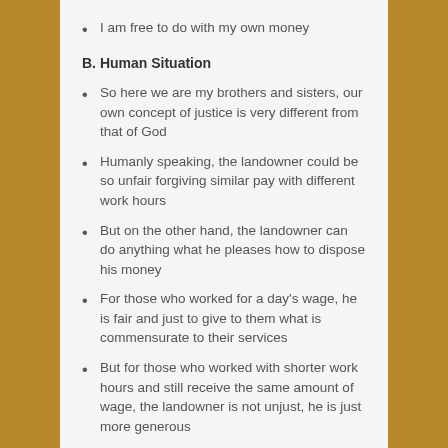I am free to do with my own money
B. Human Situation
So here we are my brothers and sisters, our own concept of justice is very different from that of God
Humanly speaking, the landowner could be so unfair forgiving similar pay with different work hours
But on the other hand, the landowner can do anything what he pleases how to dispose his money
For those who worked for a day's wage, he is fair and just to give to them what is commensurate to their services
But for those who worked with shorter work hours and still receive the same amount of wage, the landowner is not unjust, he is just more generous
The gospel today gives us a picture as to how the